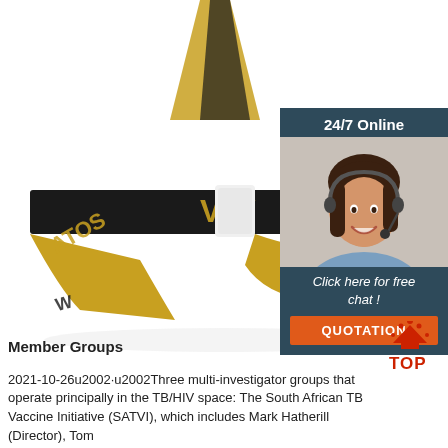[Figure (photo): A black and gold wristband/bracelet with text on it, shown on a white background. The wristband has gold glittery text and patterns on a black band, looped around a white card holder.]
[Figure (infographic): A customer service chat widget overlay in the top right, showing '24/7 Online' header, a smiling woman with a headset, 'Click here for free chat!' text, and an orange 'QUOTATION' button.]
[Figure (other): A red 'TOP' icon with upward arrows in the bottom right area.]
Member Groups
2021-10-26u2002·u2002Three multi-investigator groups that operate principally in the TB/HIV space: The South African TB Vaccine Initiative (SATVI), which includes Mark Hatherill (Director), Tom